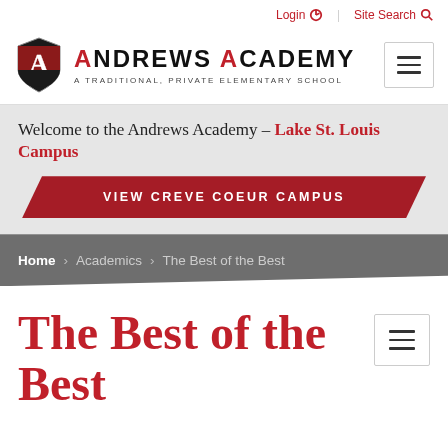Login  Site Search
[Figure (logo): Andrews Academy shield logo with red A on dark background, next to text 'ANDREWS ACADEMY - A TRADITIONAL, PRIVATE ELEMENTARY SCHOOL']
Welcome to the Andrews Academy – Lake St. Louis Campus
VIEW CREVE COEUR CAMPUS
Home › Academics › The Best of the Best
The Best of the Best